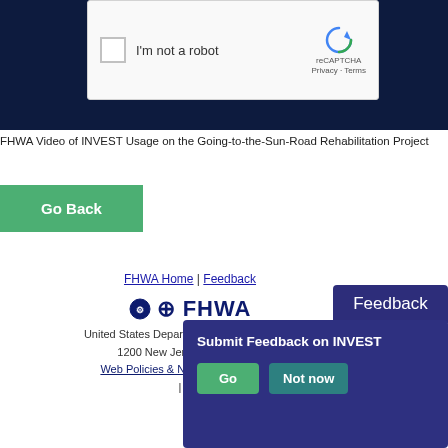[Figure (screenshot): reCAPTCHA widget showing checkbox 'I'm not a robot' on dark navy background]
FHWA Video of INVEST Usage on the Going-to-the-Sun-Road Rehabilitation Project
Go Back
FHWA Home | Feedback
[Figure (logo): FHWA logo with emblem and wordmark in dark blue]
United States Department of Transportation
1200 New Jersey Avenue, SE
Washington, DC 20590
Web Policies & Notices | FOIA | Privacy Policy | Accessibility | No Fear Act | OIG Hotline | OSDBU | U.S. DOT
[Figure (screenshot): Feedback modal overlay with 'Submit Feedback on INVEST' title and Go / Not now buttons on dark purple background, plus Feedback tab]